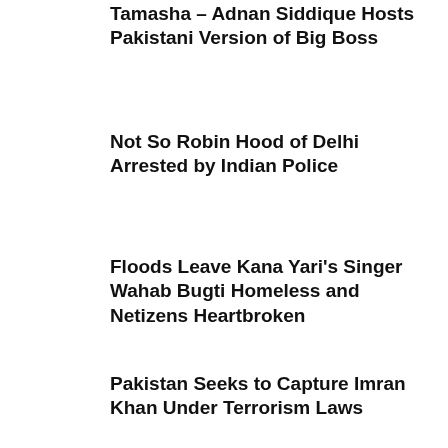Tamasha – Adnan Siddique Hosts Pakistani Version of Big Boss
Not So Robin Hood of Delhi Arrested by Indian Police
Floods Leave Kana Yari's Singer Wahab Bugti Homeless and Netizens Heartbroken
Pakistan Seeks to Capture Imran Khan Under Terrorism Laws